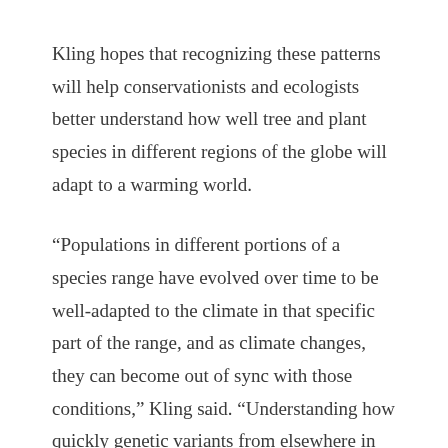Kling hopes that recognizing these patterns will help conservationists and ecologists better understand how well tree and plant species in different regions of the globe will adapt to a warming world.
“Populations in different portions of a species range have evolved over time to be well-adapted to the climate in that specific part of the range, and as climate changes, they can become out of sync with those conditions,” Kling said. “Understanding how quickly genetic variants from elsewhere in the species range can get where they are needed is important for understanding how quickly the species will respond to climate change, and how vulnerable, versus resilient, a